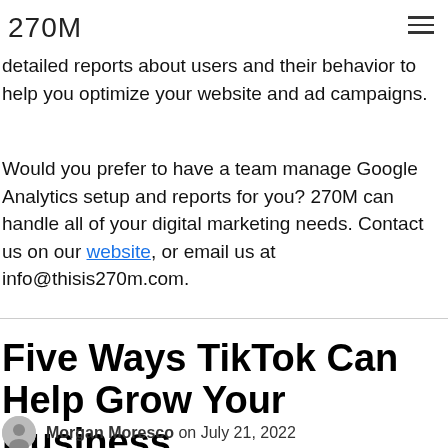270M
detailed reports about users and their behavior to help you optimize your website and ad campaigns.
Would you prefer to have a team manage Google Analytics setup and reports for you? 270M can handle all of your digital marketing needs. Contact us on our website, or email us at info@thisis270m.com.
Five Ways TikTok Can Help Grow Your Business
Morgan Moresco on July 21, 2022